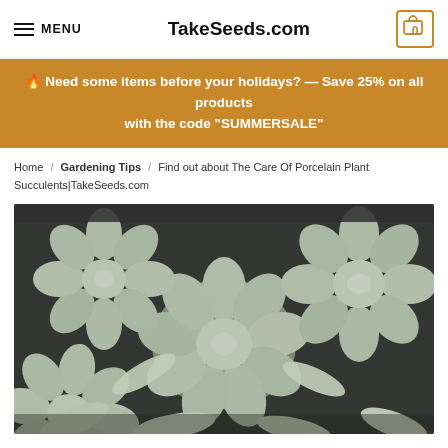MENU   TakeSeeds.com   0
🔥 Need some items before your holidays? — Save 25% on all products with the code “SUMMERSALE”
Home / Gardening Tips / Find out about The Care Of Porcelain Plant Succulents|TakeSeeds.com
[Figure (photo): Close-up photo of pale green/white porcelain succulent rosettes (Echeveria) in a dark pot, filling the frame.]